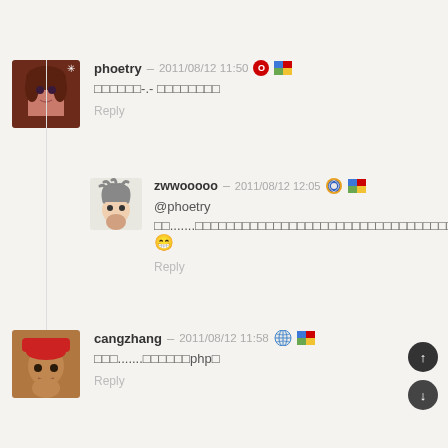[Figure (photo): Avatar of user phoetry - anime girl with brown hair]
phoetry – 2011/08/12 11:50 [Opera] [Windows]
□□□□□□-.- □□□□□□□□
Reply
[Figure (illustration): Avatar of user zwwooooo - anime character with spiky hair]
zwwooooo – 2011/08/12 12:05 [Firefox] [Windows]
@phoetry
□□.......□□□□□□□□□□□□□□□□□□□□□□□□□□□□□□□□□ 😁
Reply
[Figure (photo): Avatar of user cangzhang - person with red headband]
cangzhang – 2011/08/12 11:58 [Chrome] [Windows]
□□□.......□□□□□□php□
Reply